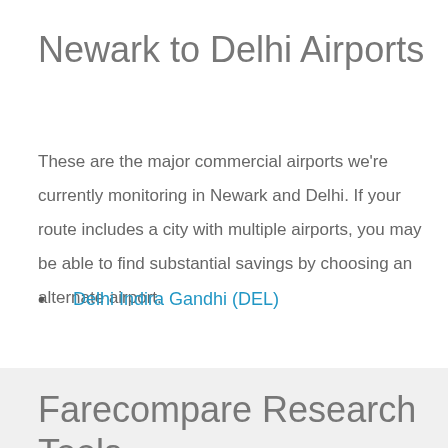Newark to Delhi Airports
These are the major commercial airports we're currently monitoring in Newark and Delhi. If your route includes a city with multiple airports, you may be able to find substantial savings by choosing an alternate airport.
Delhi Indira Gandhi (DEL)
Farecompare Research Tools